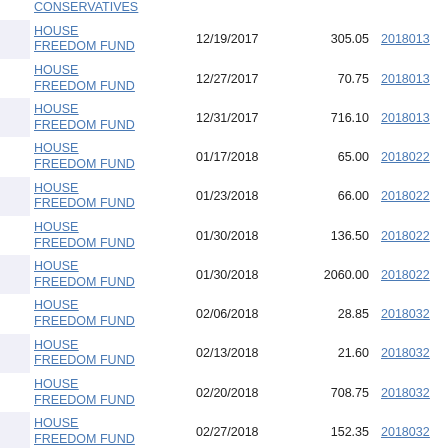|  | Committee | Date | Amount | Filing ID |
| --- | --- | --- | --- | --- |
|  | CONSERVATIVES |  |  |  |
|  | HOUSE FREEDOM FUND | 12/19/2017 | 305.05 | 2018013... |
|  | HOUSE FREEDOM FUND | 12/27/2017 | 70.75 | 2018013... |
|  | HOUSE FREEDOM FUND | 12/31/2017 | 716.10 | 2018013... |
|  | HOUSE FREEDOM FUND | 01/17/2018 | 65.00 | 2018022... |
|  | HOUSE FREEDOM FUND | 01/23/2018 | 66.00 | 2018022... |
|  | HOUSE FREEDOM FUND | 01/30/2018 | 136.50 | 2018022... |
|  | HOUSE FREEDOM FUND | 01/30/2018 | 2060.00 | 2018022... |
|  | HOUSE FREEDOM FUND | 02/06/2018 | 28.85 | 2018032... |
|  | HOUSE FREEDOM FUND | 02/13/2018 | 21.60 | 2018032... |
|  | HOUSE FREEDOM FUND | 02/20/2018 | 708.75 | 2018032... |
|  | HOUSE FREEDOM FUND | 02/27/2018 | 152.35 | 2018032... |
|  | HOUSE FREEDOM FUND | 03/06/2018 | 0.80 | 2018042... |
|  | HOUSE FREEDOM FUND | 03/06/2018 | 40.35 | 2018042... |
|  | HOUSE | 03/10/2018 | 40.75 | 2018042... |